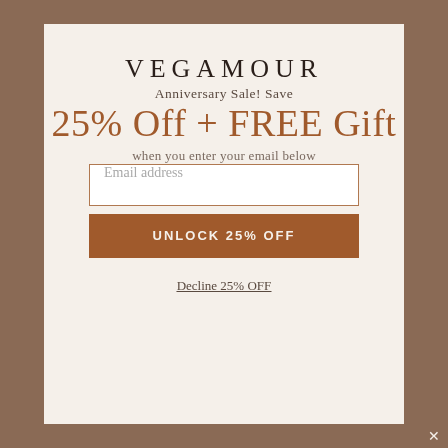VEGAMOUR
Anniversary Sale! Save
25% Off + FREE Gift
when you enter your email below
Email address
UNLOCK 25% OFF
Decline 25% OFF